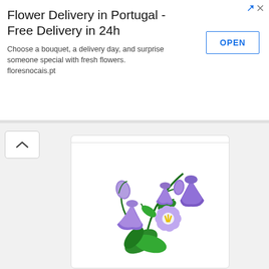[Figure (infographic): Advertisement banner: Flower Delivery in Portugal - Free Delivery in 24h. Choose a bouquet, a delivery day, and surprise someone special with fresh flowers. floresnocais.pt. OPEN button on the right.]
[Figure (illustration): Colorful clipart illustration of purple/lavender bellflowers (campanula) with green leaves on a white card background.]
[Figure (illustration): Black and white line-art illustration of flowers, partially visible at bottom of page, two flower clusters on stems.]